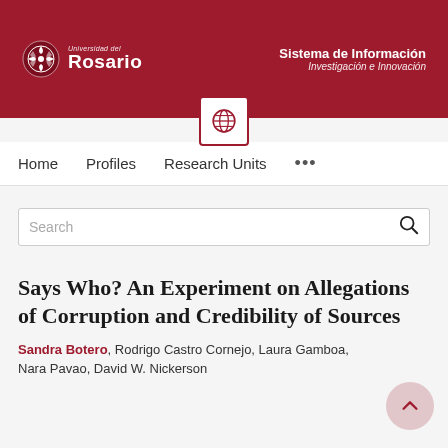[Figure (logo): Universidad del Rosario logo with crest and wordmark on dark red banner, alongside Sistema de Información Investigación e Innovación text]
Home   Profiles   Research Units   ...
Search
Says Who? An Experiment on Allegations of Corruption and Credibility of Sources
Sandra Botero, Rodrigo Castro Cornejo, Laura Gamboa, Nara Pavao, David W. Nickerson